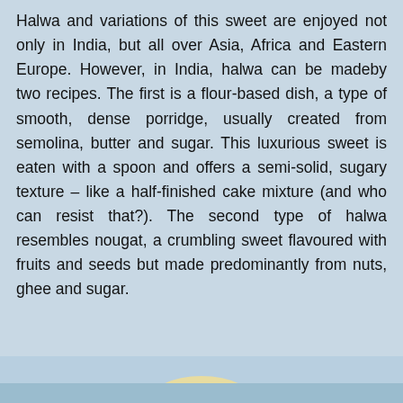Halwa and variations of this sweet are enjoyed not only in India, but all over Asia, Africa and Eastern Europe. However, in India, halwa can be madeby two recipes. The first is a flour-based dish, a type of smooth, dense porridge, usually created from semolina, butter and sugar. This luxurious sweet is eaten with a spoon and offers a semi-solid, sugary texture – like a half-finished cake mixture (and who can resist that?). The second type of halwa resembles nougat, a crumbling sweet flavoured with fruits and seeds but made predominantly from nuts, ghee and sugar.
[Figure (photo): Partial image of what appears to be halwa or a food item, visible at the bottom of the page, showing a light blue/cream colored background with what looks like a piece of the sweet.]